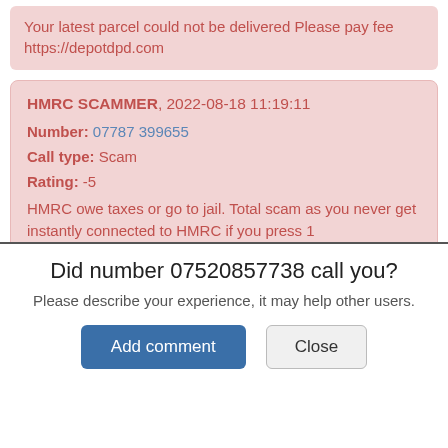Your latest parcel could not be delivered Please pay fee https://depotdpd.com
HMRC SCAMMER, 2022-08-18 11:19:11
Number: 07787 399655
Call type: Scam
Rating: -5
HMRC owe taxes or go to jail. Total scam as you never get instantly connected to HMRC if you press 1
James Wilson, 2022-08-18 08:22:39
Number: 07902 379855
Did number 07520857738 call you?
Please describe your experience, it may help other users.
Add comment   Close